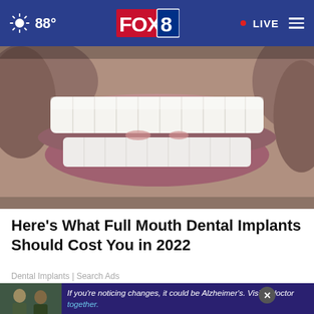88° FOX 8 • LIVE
[Figure (photo): Close-up photo of a smiling man showing white teeth with stubble visible on chin and cheeks]
Here's What Full Mouth Dental Implants Should Cost You in 2022
Dental Implants | Search Ads
[Figure (photo): Advertisement banner: If you're noticing changes, it could be Alzheimer's. Visit a doctor together. Shows two men talking outdoors.]